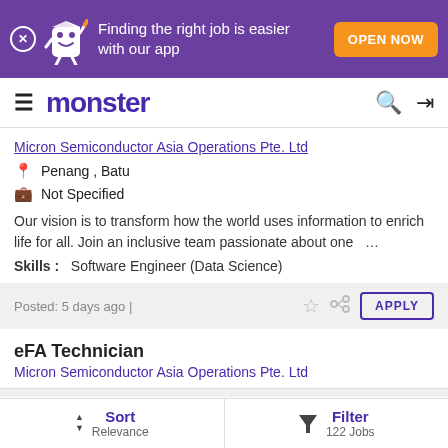[Figure (screenshot): Monster job search app banner with purple background, mascot character, text 'Finding the right job is easier with our app' and orange 'OPEN NOW' button]
monster
Micron Semiconductor Asia Operations Pte. Ltd
Penang , Batu
Not Specified
Our vision is to transform how the world uses information to enrich life for all. Join an inclusive team passionate about one ...
Skills : Software Engineer (Data Science)
Posted: 5 days ago |
eFA Technician
Micron Semiconductor Asia Operations Pte. Ltd
Sort Relevance | Filter 122 Jobs